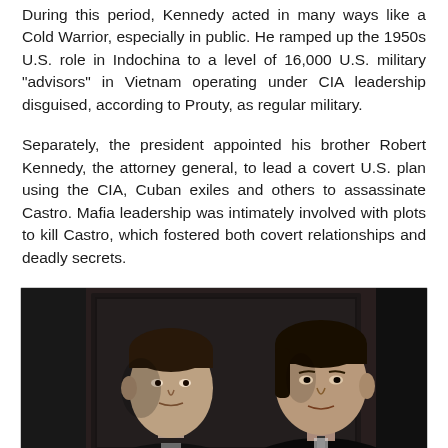During this period, Kennedy acted in many ways like a Cold Warrior, especially in public. He ramped up the 1950s U.S. role in Indochina to a level of 16,000 U.S. military "advisors" in Vietnam operating under CIA leadership disguised, according to Prouty, as regular military.
Separately, the president appointed his brother Robert Kennedy, the attorney general, to lead a covert U.S. plan using the CIA, Cuban exiles and others to assassinate Castro. Mafia leadership was intimately involved with plots to kill Castro, which fostered both covert relationships and deadly secrets.
[Figure (photo): Black and white photograph of two men, identified as Robert Kennedy (left) and John F. Kennedy (right), seated together in a formal indoor setting.]